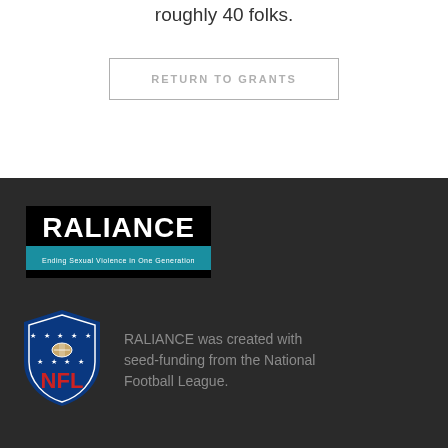roughly 40 folks.
RETURN TO GRANTS
[Figure (logo): RALIANCE logo — black background with white bold text 'RALIANCE' and teal bar below reading 'Ending Sexual Violence in One Generation']
[Figure (logo): NFL shield logo with blue background, stars and football, red NFL text]
RALIANCE was created with seed-funding from the National Football League.